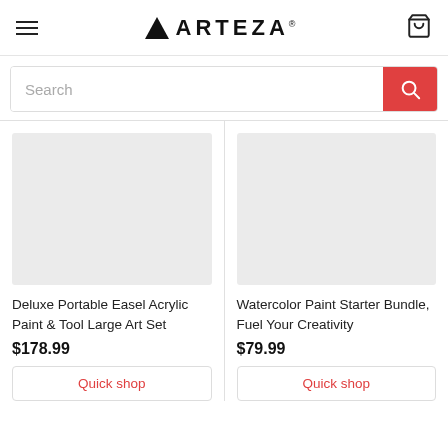ARTEZA
Search
[Figure (photo): Placeholder image for Deluxe Portable Easel Acrylic Paint & Tool Large Art Set]
Deluxe Portable Easel Acrylic Paint & Tool Large Art Set
$178.99
Quick shop
[Figure (photo): Placeholder image for Watercolor Paint Starter Bundle, Fuel Your Creativity]
Watercolor Paint Starter Bundle, Fuel Your Creativity
$79.99
Quick shop